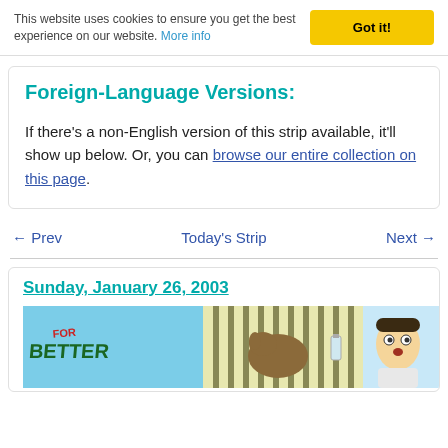This website uses cookies to ensure you get the best experience on our website. More info
Got it!
Foreign-Language Versions:
If there's a non-English version of this strip available, it'll show up below. Or, you can browse our entire collection on this page.
← Prev    Today's Strip    Next →
Sunday, January 26, 2003
[Figure (illustration): Comic strip thumbnail for For Better showing cartoon panels]